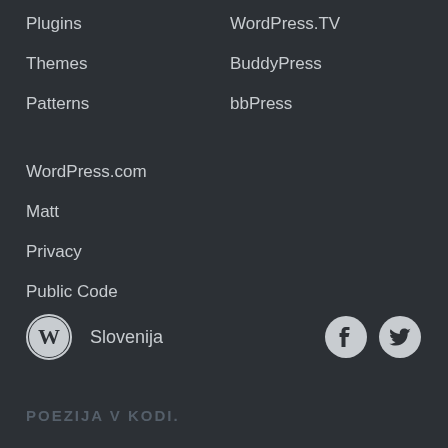Plugins
Themes
Patterns
WordPress.com
Matt
Privacy
Public Code
WordPress.TV
BuddyPress
bbPress
Slovenija
POEZIJA V KODI.